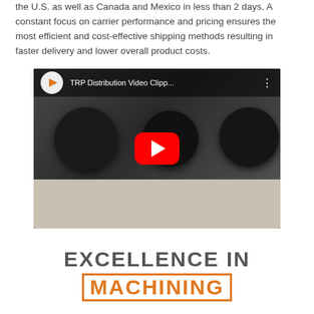the U.S. as well as Canada and Mexico in less than 2 days. A constant focus on carrier performance and pricing ensures the most efficient and cost-effective shipping methods resulting in faster delivery and lower overall product costs.
[Figure (screenshot): YouTube video thumbnail showing 'TRP Distribution Video Clipp...' with a red play button overlay. The thumbnail shows dark black mechanical hub/flange parts with metal bolts on a gray surface.]
EXCELLENCE IN MACHINING